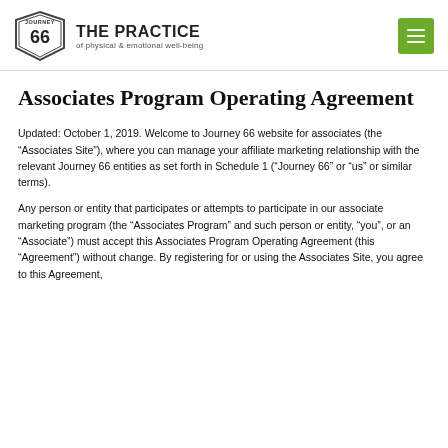THE PRACTICE of physical & emotional well-being
Associates Program Operating Agreement
Updated: October 1, 2019. Welcome to Journey 66 website for associates (the “Associates Site”), where you can manage your affiliate marketing relationship with the relevant Journey 66 entities as set forth in Schedule 1 (“Journey 66” or “us” or similar terms).
Any person or entity that participates or attempts to participate in our associate marketing program (the “Associates Program” and such person or entity, “you”, or an “Associate”) must accept this Associates Program Operating Agreement (this “Agreement”) without change. By registering for or using the Associates Site, you agree to this Agreement,